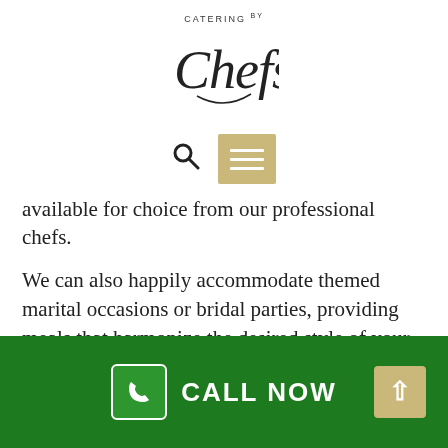[Figure (logo): Catering by Chefs logo with stylized italic script and decorative flourish]
[Figure (other): Navigation bar with search icon and tan/gold hamburger menu button]
available for choice from our professional chefs.
We can also happily accommodate themed marital occasions or bridal parties, providing meals that harmonize the desired style of your special day in Point Leo. For any questions regarding customised menus, please don’t hesitate to call Phil on (03) 9068 5053.
Our Chefs Will Work Closely With You!
We understand perfectly that this is the biggest day of
CALL NOW